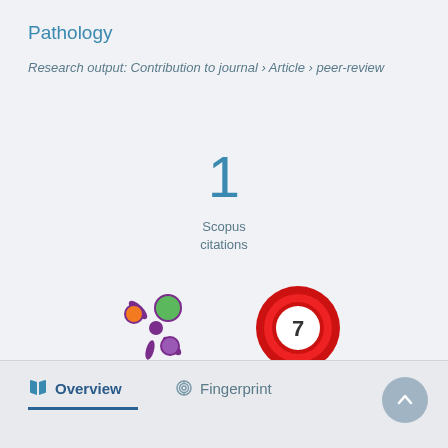Pathology
Research output: Contribution to journal › Article › peer-review
1
Scopus
citations
[Figure (infographic): Altmetric donut-style logo (purple splat with orange, green, purple circles) and a red donut badge showing the number 7]
Overview
Fingerprint